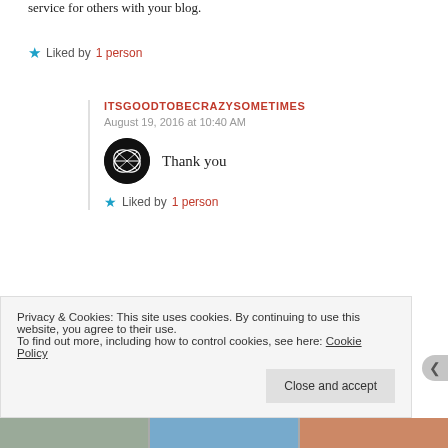service for others with your blog.
★ Liked by 1 person
ITSGOODTOBECRAZYSOMETIMES
August 19, 2016 at 10:40 AM
Thank you
★ Liked by 1 person
COOKING FOR THE TIME CHALLENGED
Privacy & Cookies: This site uses cookies. By continuing to use this website, you agree to their use.
To find out more, including how to control cookies, see here: Cookie Policy
Close and accept